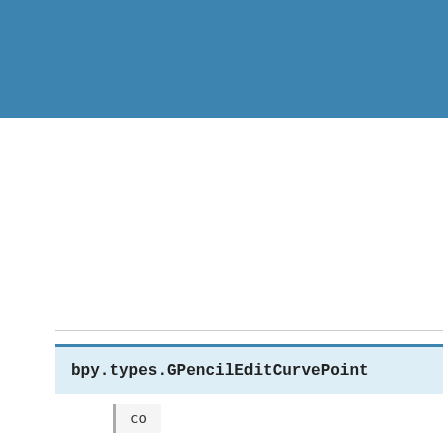bpy_struct
bpy.types.GPencilEditCurvePoint
co